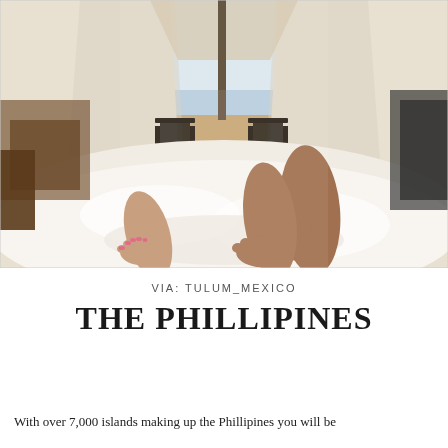[Figure (photo): Interior of a glamping tent or luxury beach tent with white draping curtains forming an A-frame. Two people are lying in a white bedded area, feet visible in the foreground. Through the open tent opening, two dark wooden lounge chairs are visible on a wooden deck, with an ocean or sea view in the background. Warm, bright natural light fills the scene.]
VIA: TULUM_MEXICO
THE PHILLIPINES
With over 7,000 islands making up the Phillipines you will be